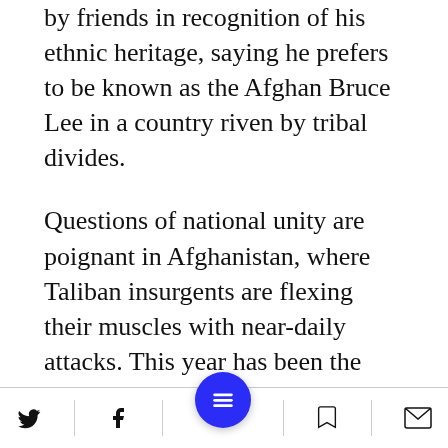by friends in recognition of his ethnic heritage, saying he prefers to be known as the Afghan Bruce Lee in a country riven by tribal divides.
Questions of national unity are poignant in Afghanistan, where Taliban insurgents are flexing their muscles with near-daily attacks. This year has been the bloodiest of the war, as foreign troops drastically reduce their presence.
Alizada's recent success on the Internet and at a martial arts tournament in Kabul reflects
Social share and navigation bar with Twitter, Facebook, menu, bookmark, and mail icons